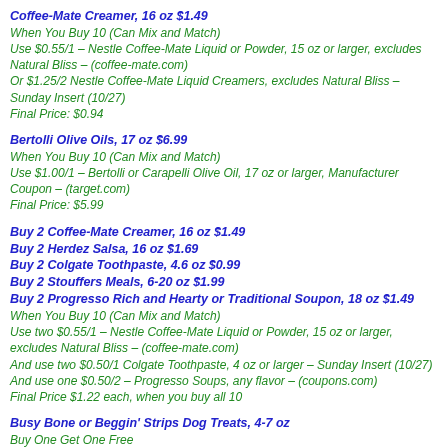Coffee-Mate Creamer, 16 oz $1.49
When You Buy 10 (Can Mix and Match)
Use $0.55/1 – Nestle Coffee-Mate Liquid or Powder, 15 oz or larger, excludes Natural Bliss – (coffee-mate.com)
Or $1.25/2 Nestle Coffee-Mate Liquid Creamers, excludes Natural Bliss – Sunday Insert (10/27)
Final Price: $0.94
Bertolli Olive Oils, 17 oz $6.99
When You Buy 10 (Can Mix and Match)
Use $1.00/1 – Bertolli or Carapelli Olive Oil, 17 oz or larger, Manufacturer Coupon – (target.com)
Final Price: $5.99
Buy 2 Coffee-Mate Creamer, 16 oz $1.49
Buy 2 Herdez Salsa, 16 oz $1.69
Buy 2 Colgate Toothpaste, 4.6 oz $0.99
Buy 2 Stouffers Meals, 6-20 oz $1.99
Buy 2 Progresso Rich and Hearty or Traditional Soupon, 18 oz $1.49
When You Buy 10 (Can Mix and Match)
Use two $0.55/1 – Nestle Coffee-Mate Liquid or Powder, 15 oz or larger, excludes Natural Bliss – (coffee-mate.com)
And use two $0.50/1 Colgate Toothpaste, 4 oz or larger – Sunday Insert (10/27)
And use one $0.50/2 – Progresso Soups, any flavor – (coupons.com)
Final Price $1.22 each, when you buy all 10
Busy Bone or Beggin' Strips Dog Treats, 4-7 oz
Buy One Get One Free
Use $1.00/1 Purina Beggin Product, 6 oz or larger – Sunday Insert (9/29)